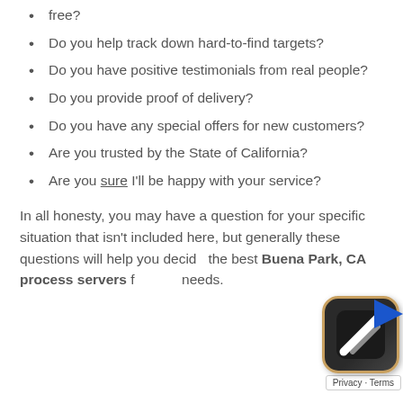free?
Do you help track down hard-to-find targets?
Do you have positive testimonials from real people?
Do you provide proof of delivery?
Do you have any special offers for new customers?
Are you trusted by the State of California?
Are you sure I'll be happy with your service?
In all honesty, you may have a question for your specific situation that isn't included here, but generally these questions will help you decide the best Buena Park, CA process servers for your needs.